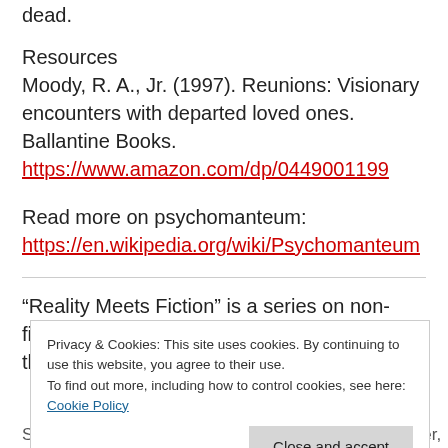dead.
Resources
Moody, R. A., Jr. (1997). Reunions: Visionary encounters with departed loved ones. Ballantine Books. https://www.amazon.com/dp/0449001199
Read more on psychomanteum:
https://en.wikipedia.org/wiki/Psychomanteum
“Reality Meets Fiction” is a series on non-fiction, real-life stories as experienced through personal accounts and
Privacy & Cookies: This site uses cookies. By continuing to use this website, you agree to their use.
To find out more, including how to control cookies, see here: Cookie Policy
September 24th. To learn more about the Ghost Hunter,